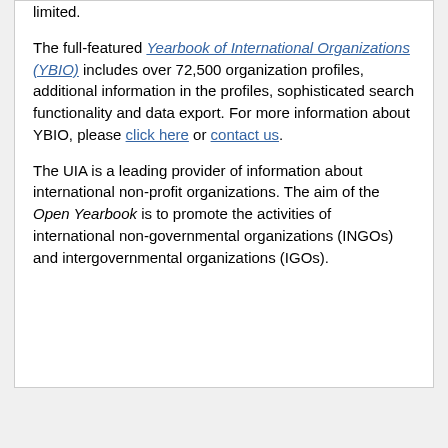limited.
The full-featured Yearbook of International Organizations (YBIO) includes over 72,500 organization profiles, additional information in the profiles, sophisticated search functionality and data export. For more information about YBIO, please click here or contact us.
The UIA is a leading provider of information about international non-profit organizations. The aim of the Open Yearbook is to promote the activities of international non-governmental organizations (INGOs) and intergovernmental organizations (IGOs).